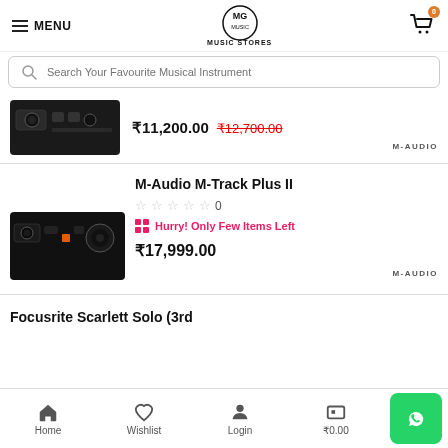MENU | MG MUSIC STORES | Cart 0
Search Your Favourite Musical Instrument
₹11,200.00  ₹12,700.00
M-Audio M-Track Plus II
0 stars · 0 reviews · Hurry! Only Few Items Left
₹17,999.00
Focusrite Scarlett Solo (3rd
Home  Wishlist  Login  ₹0.00